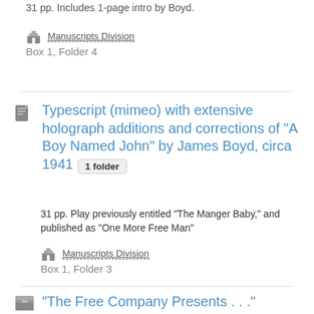31 pp. Includes 1-page intro by Boyd.
Manuscripts Division
Box 1, Folder 4
Typescript (mimeo) with extensive holograph additions and corrections of "A Boy Named John" by James Boyd, circa 1941  1 folder
31 pp. Play previously entitled "The Manger Baby," and published as "One More Free Man"
Manuscripts Division
Box 1, Folder 3
"The Free Company Presents . . ." Collection, 1941  C0126  1 box  0.2 linear feet
Boyd, James, 1888-1944